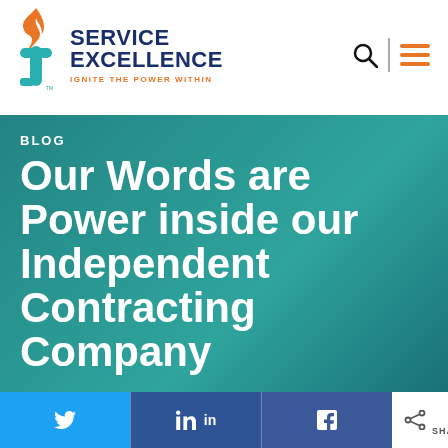[Figure (logo): Service Excellence logo with wrench/key icon, orange flame, teal body, and text 'SERVICE EXCELLENCE IGNITE THE POWER WITHIN']
BLOG
Our Words are Power inside our Independent Contracting Company
[Figure (infographic): Social share bar with Twitter, LinkedIn, Facebook buttons and share count of 0]